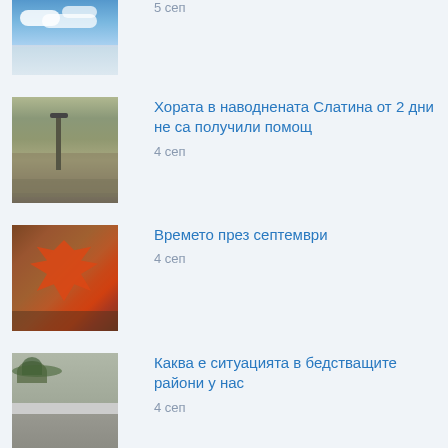[Figure (photo): Sky with clouds thumbnail (partial, top of page)]
5 сеп
[Figure (photo): Flooded area with a street lamp in brown flood water]
Хората в наводнената Слатина от 2 дни не са получили помощ
4 сеп
[Figure (photo): Red autumn maple leaf on blurred background]
Времето през септември
4 сеп
[Figure (photo): Rainy grey scene with green leaves and wet surfaces]
Каква е ситуацията в бедстващите райони у нас
4 сеп